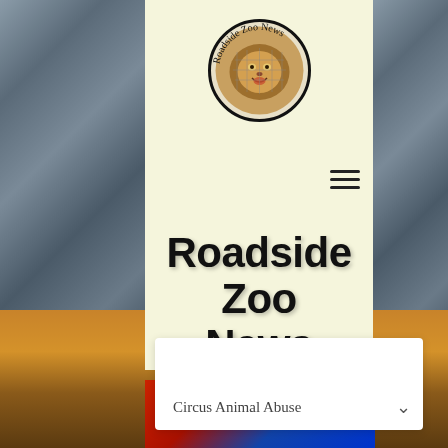[Figure (logo): Circular logo with a lion face and text 'Roadside Zoo News' around the border, on a cream background panel]
Roadside Zoo News
Circus Animal Abuse